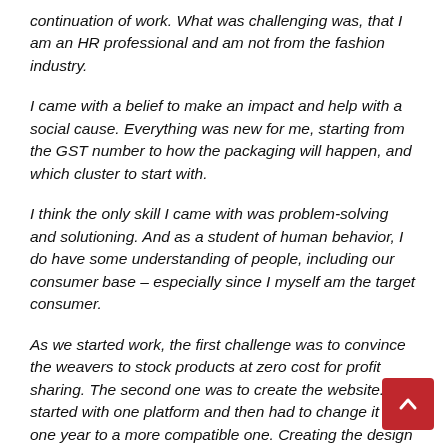continuation of work. What was challenging was, that I am an HR professional and am not from the fashion industry.
I came with a belief to make an impact and help with a social cause. Everything was new for me, starting from the GST number to how the packaging will happen, and which cluster to start with.
I think the only skill I came with was problem-solving and solutioning. And as a student of human behavior, I do have some understanding of people, including our consumer base – especially since I myself am the target consumer.
As we started work, the first challenge was to convince the weavers to stock products at zero cost for profit sharing. The second one was to create the website. We started with one platform and then had to change it after one year to a more compatible one. Creating the design